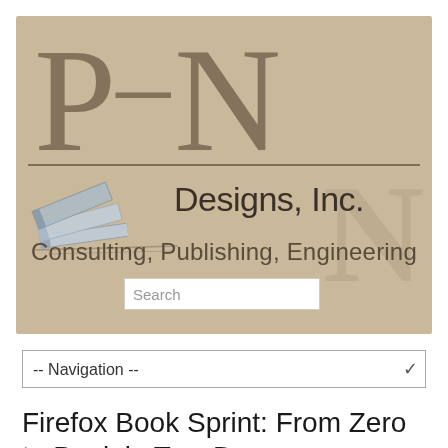[Figure (logo): P-N Designs, Inc. logo on tan/beige background. Large letters P-N with horizontal rule, books illustration, and text 'Designs, Inc.' with tagline 'Consulting, Publishing, Engineering' and a search box.]
-- Navigation --
Firefox Book Sprint: From Zero to Book in Two D...